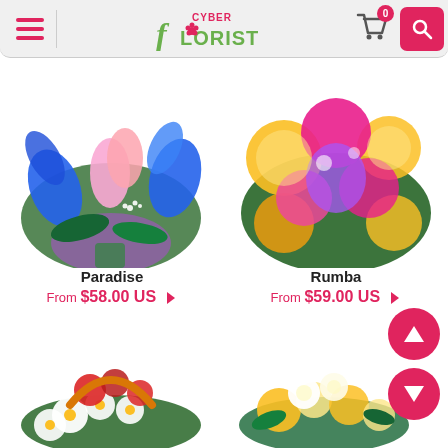[Figure (screenshot): Cyber Florist website header with hamburger menu, logo, cart icon with badge showing 0, and search button]
[Figure (photo): Flower bouquet named Paradise - blue irises, pink calla lilies with purple wrapping]
[Figure (photo): Flower bouquet named Rumba - pink, yellow, and purple flowers]
Paradise
From $58.00 US
Rumba
From $59.00 US
[Figure (photo): Red and white flower basket arrangement partially visible at bottom left]
[Figure (photo): Yellow and white flower arrangement partially visible at bottom center-right]